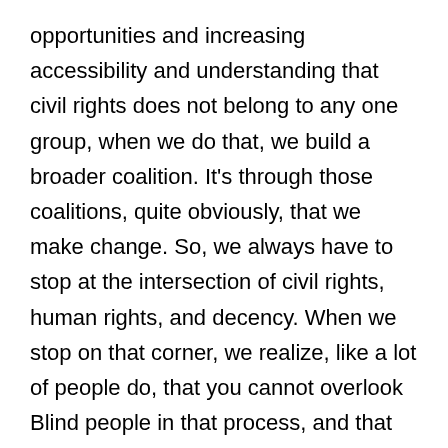opportunities and increasing accessibility and understanding that civil rights does not belong to any one group, when we do that, we build a broader coalition. It's through those coalitions, quite obviously, that we make change. So, we always have to stop at the intersection of civil rights, human rights, and decency. When we stop on that corner, we realize, like a lot of people do, that you cannot overlook Blind people in that process, and that those same rights and protections that you are fighting for have to be afforded to all people.
President Riccobono: I appreciate your comments on that. We in the last couple of years were very honored,